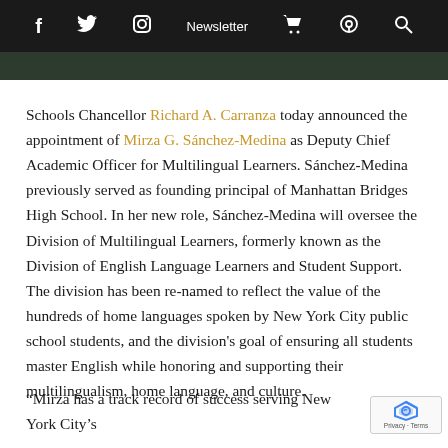f  [twitter]  [instagram]  Newsletter  [cart]  [podcast]  [search]
Schools Chancellor Richard A. Carranza today announced the appointment of Mirza G. Sánchez-Medina as Deputy Chief Academic Officer for Multilingual Learners. Sánchez-Medina previously served as founding principal of Manhattan Bridges High School. In her new role, Sánchez-Medina will oversee the Division of Multilingual Learners, formerly known as the Division of English Language Learners and Student Support. The division has been re-named to reflect the value of the hundreds of home languages spoken by New York City public school students, and the division's goal of ensuring all students master English while honoring and supporting their multilingualism, home language, and culture.
“Mirza has a track record of success serving New York City’s